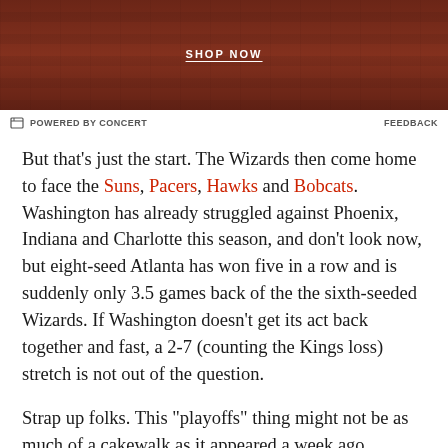[Figure (photo): Advertisement image with dark reddish-brown brick background and 'SHOP NOW' text overlay]
POWERED BY CONCERT    FEEDBACK
But that's just the start. The Wizards then come home to face the Suns, Pacers, Hawks and Bobcats. Washington has already struggled against Phoenix, Indiana and Charlotte this season, and don't look now, but eight-seed Atlanta has won five in a row and is suddenly only 3.5 games back of the the sixth-seeded Wizards. If Washington doesn't get its act back together and fast, a 2-7 (counting the Kings loss) stretch is not out of the question.
Strap up folks. This "playoffs" thing might not be as much of a cakewalk as it appeared a week ago.
KEY LINKS